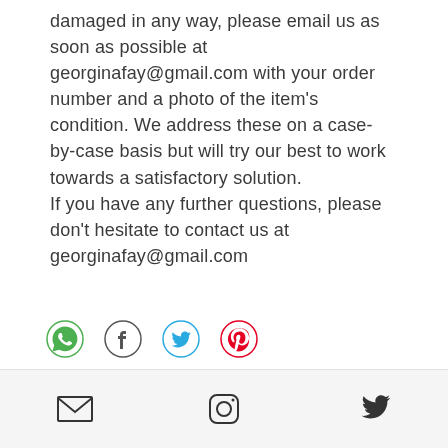damaged in any way, please email us as soon as possible at georginafay@gmail.com with your order number and a photo of the item's condition. We address these on a case-by-case basis but will try our best to work towards a satisfactory solution.
If you have any further questions, please don't hesitate to contact us at georginafay@gmail.com
[Figure (other): Row of four social sharing icons: WhatsApp (green), Facebook (dark blue), Twitter (light blue), Pinterest (red/pink)]
Email icon, Instagram icon, Twitter icon